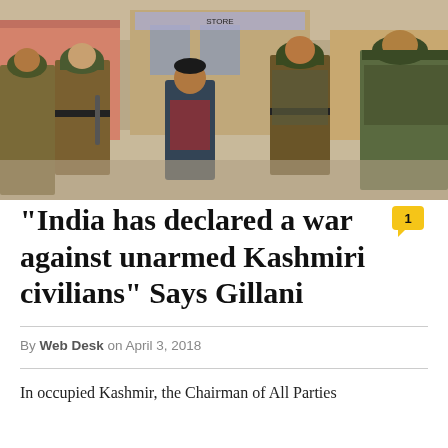[Figure (photo): Police/security forces in brown uniforms and helmets detaining a civilian on a street in Kashmir. Multiple officers visible, daytime outdoor scene with buildings in background.]
"India has declared a war against unarmed Kashmiri civilians" Says Gillani
By Web Desk on April 3, 2018
In occupied Kashmir, the Chairman of All Parties